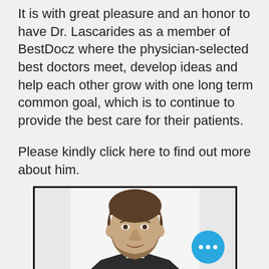It is with great pleasure and an honor to have Dr. Lascarides as a member of BestDocz where the physician-selected best doctors meet, develop ideas and help each other grow with one long term common goal, which is to continue to provide the best care for their patients.
Please kindly click here to find out more about him.
[Figure (photo): Portrait photo of a young male doctor with short brown hair and beard, wearing dark scrubs, white shirt underneath, smiling slightly. Photo is framed with a black border. A blue circular chat bubble with three white dots appears in the bottom-right corner.]